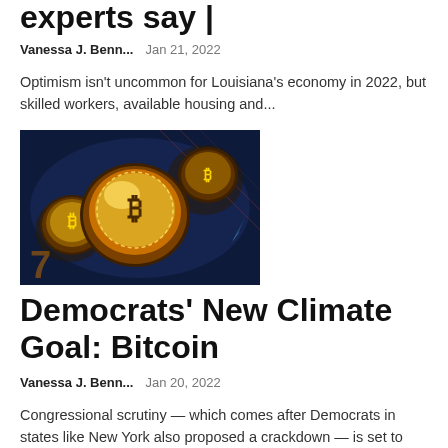experts say |
Vanessa J. Benn...   Jan 21, 2022
Optimism isn't uncommon for Louisiana's economy in 2022, but skilled workers, available housing and...
[Figure (photo): Bitcoin gold coins stacked on dark blue background]
Democrats' New Climate Goal: Bitcoin
Vanessa J. Benn...   Jan 20, 2022
Congressional scrutiny — which comes after Democrats in states like New York also proposed a crackdown — is set to intensify now